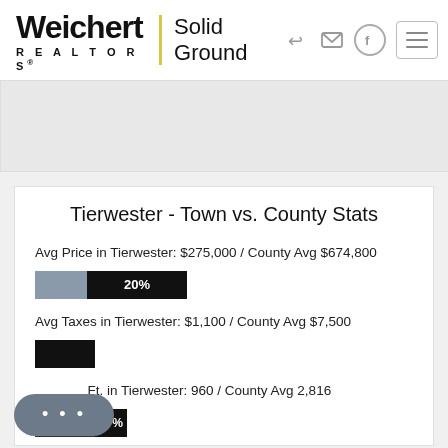[Figure (logo): Weichert Realtors - Solid Ground logo with yellow vertical bar separator]
Tierwester - Town vs. County Stats
Avg Price in Tierwester: $275,000 / County Avg $674,800
[Figure (bar-chart): Avg Price comparison]
Avg Taxes in Tierwester: $1,100 / County Avg $7,500
[Figure (bar-chart): Avg Taxes comparison]
Avg Sq. Ft. in Tierwester: 960 / County Avg 2,816
[Figure (bar-chart): Avg Sq Ft comparison]